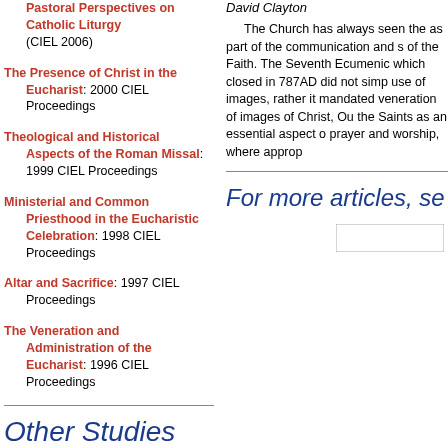Historical, Theological, and Pastoral Perspectives on Catholic Liturgy (CIEL 2006)
The Presence of Christ in the Eucharist: 2000 CIEL Proceedings
Theological and Historical Aspects of the Roman Missal: 1999 CIEL Proceedings
Ministerial and Common Priesthood in the Eucharistic Celebration: 1998 CIEL Proceedings
Altar and Sacrifice: 1997 CIEL Proceedings
The Veneration and Administration of the Eucharist: 1996 CIEL Proceedings
Other Studies
David Clayton
The Church has always seen the as part of the communication and s of the Faith. The Seventh Ecumenic which closed in 787AD did not simp use of images, rather it mandated veneration of images of Christ, Ou the Saints as an essential aspect o prayer and worship, where approp
For more articles, se